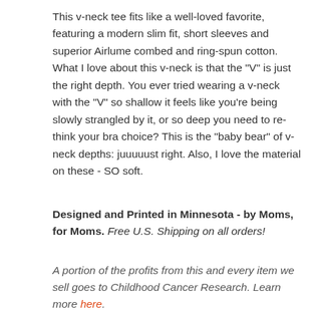This v-neck tee fits like a well-loved favorite, featuring a modern slim fit, short sleeves and superior Airlume combed and ring-spun cotton. What I love about this v-neck is that the "V" is just the right depth. You ever tried wearing a v-neck with the "V" so shallow it feels like you're being slowly strangled by it, or so deep you need to re-think your bra choice? This is the "baby bear" of v-neck depths: juuuuust right. Also, I love the material on these - SO soft.
Designed and Printed in Minnesota - by Moms, for Moms. Free U.S. Shipping on all orders!
A portion of the profits from this and every item we sell goes to Childhood Cancer Research. Learn more here.